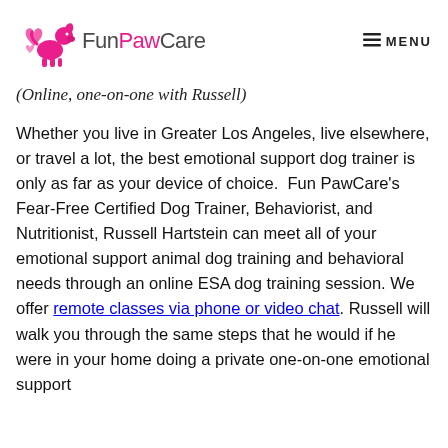FunPawCare | MENU
(Online, one-on-one with Russell)
Whether you live in Greater Los Angeles, live elsewhere, or travel a lot, the best emotional support dog trainer is only as far as your device of choice. Fun PawCare's Fear-Free Certified Dog Trainer, Behaviorist, and Nutritionist, Russell Hartstein can meet all of your emotional support animal dog training and behavioral needs through an online ESA dog training session. We offer remote classes via phone or video chat. Russell will walk you through the same steps that he would if he were in your home doing a private one-on-one emotional support